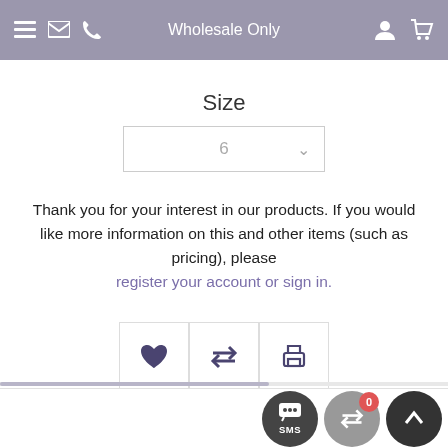Wholesale Only
Size
6
Thank you for your interest in our products. If you would like more information on this and other items (such as pricing), please register your account or sign in.
Rating: Sign in to write a review